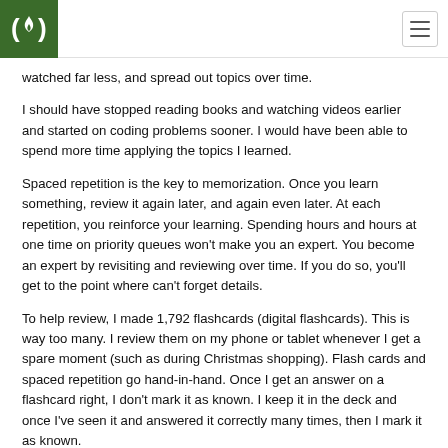freeCodeCamp logo and navigation
watched far less, and spread out topics over time.
I should have stopped reading books and watching videos earlier and started on coding problems sooner. I would have been able to spend more time applying the topics I learned.
Spaced repetition is the key to memorization. Once you learn something, review it again later, and again even later. At each repetition, you reinforce your learning. Spending hours and hours at one time on priority queues won't make you an expert. You become an expert by revisiting and reviewing over time. If you do so, you'll get to the point where can't forget details.
To help review, I made 1,792 flashcards (digital flashcards). This is way too many. I review them on my phone or tablet whenever I get a spare moment (such as during Christmas shopping). Flash cards and spaced repetition go hand-in-hand. Once I get an answer on a flashcard right, I don't mark it as known. I keep it in the deck and once I've seen it and answered it correctly many times, then I mark it as known.